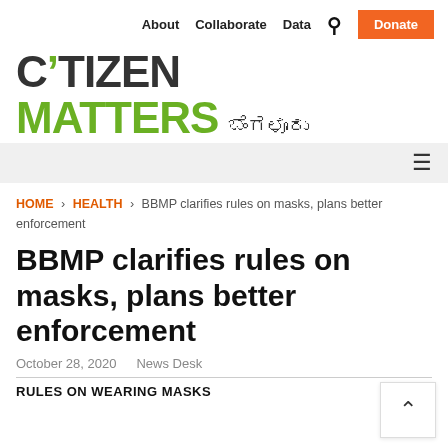About  Collaborate  Data  🔍  Donate
[Figure (logo): Citizen Matters Bengaluru logo with stylized C and green MATTERS text and Kannada script]
≡
HOME › HEALTH › BBMP clarifies rules on masks, plans better enforcement
BBMP clarifies rules on masks, plans better enforcement
October 28, 2020   News Desk
RULES ON WEARING MASKS